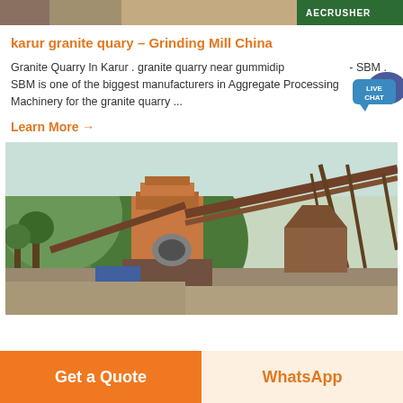[Figure (photo): Top banner image showing mining/aggregate equipment with green AECRUSHER logo on right side]
karur granite quary – Grinding Mill China
Granite Quarry In Karur . granite quarry near gummidipundi - SBM . SBM is one of the biggest manufacturers in Aggregate Processing Machinery for the granite quarry ...
[Figure (logo): LIVE CHAT bubble badge in blue/teal color with speech bubble icon]
Learn More →
[Figure (photo): Granite quarry processing plant with conveyor belts, crusher machinery, and industrial structures set against a green hillside background]
Get a Quote
WhatsApp